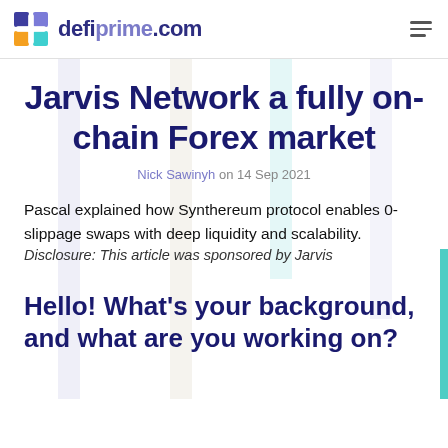defiprime.com
Jarvis Network a fully on-chain Forex market
Nick Sawinyh on 14 Sep 2021
Pascal explained how Synthereum protocol enables 0-slippage swaps with deep liquidity and scalability.
Disclosure: This article was sponsored by Jarvis
Hello! What's your background, and what are you working on?